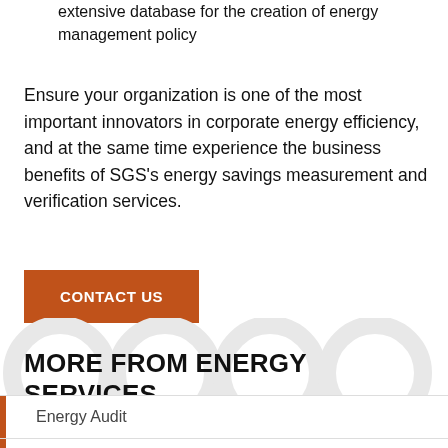extensive database for the creation of energy management policy
Ensure your organization is one of the most important innovators in corporate energy efficiency, and at the same time experience the business benefits of SGS’s energy savings measurement and verification services.
CONTACT US
MORE FROM ENERGY SERVICES
Energy Audit
Energy Management Training